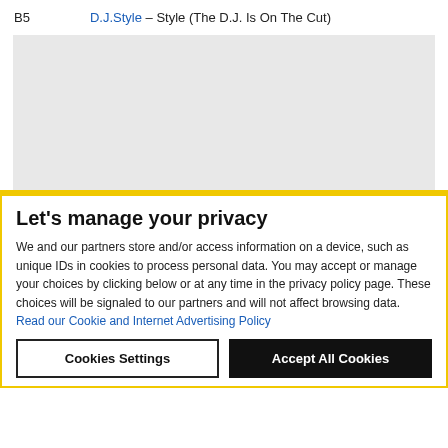B5    D.J.Style – Style (The D.J. Is On The Cut)
[Figure (other): Gray advertisement placeholder rectangle]
Let's manage your privacy
We and our partners store and/or access information on a device, such as unique IDs in cookies to process personal data. You may accept or manage your choices by clicking below or at any time in the privacy policy page. These choices will be signaled to our partners and will not affect browsing data. Read our Cookie and Internet Advertising Policy
Cookies Settings
Accept All Cookies